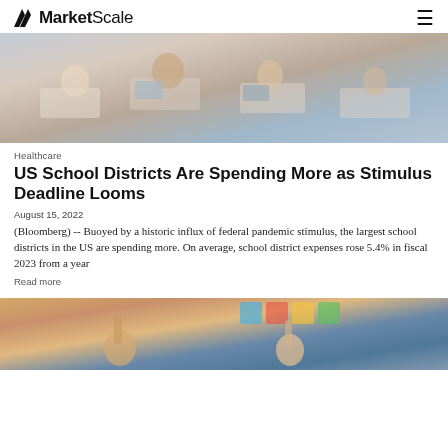MarketScale
[Figure (photo): Classroom with students sitting at desks, viewed from behind, with laptops and school supplies visible]
Healthcare
US School Districts Are Spending More as Stimulus Deadline Looms
August 15, 2022
(Bloomberg) -- Buoyed by a historic influx of federal pandemic stimulus, the largest school districts in the US are spending more. On average, school district expenses rose 5.4% in fiscal 2023 from a year
Read more
[Figure (photo): Classroom scene with students raising hands and colorful materials on walls]